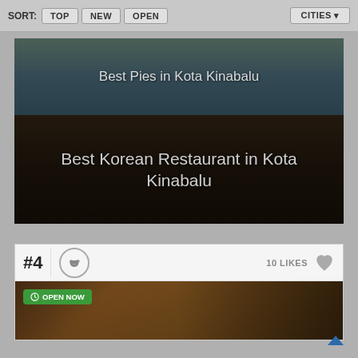SORT: TOP NEW OPEN | CITIES
[Figure (screenshot): Banner image: Best Pies in Kota Kinabalu]
Best Pies in Kota Kinabalu
[Figure (screenshot): Banner image: Best Korean Restaurant in Kota Kinabalu]
Best Korean Restaurant in Kota Kinabalu
#4  10 LIKES  OPEN NOW  Leave a comment